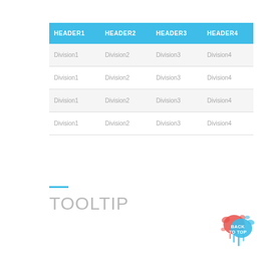| HEADER1 | HEADER2 | HEADER3 | HEADER4 |
| --- | --- | --- | --- |
| Division1 | Division2 | Division3 | Division4 |
| Division1 | Division2 | Division3 | Division4 |
| Division1 | Division2 | Division3 | Division4 |
| Division1 | Division2 | Division3 | Division4 |
TOOLTIP
[Figure (illustration): Back to top button with red and blue paint splatter design]